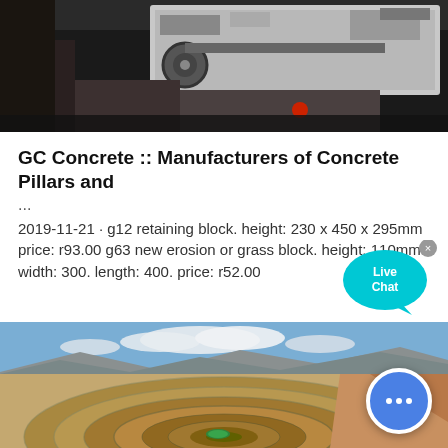[Figure (photo): Industrial machinery, dark interior with heavy equipment, partially visible white structural components]
GC Concrete :: Manufacturers of Concrete Pillars and ...
2019-11-21 · g12 retaining block. height: 230 x 450 x 295mm price: r93.00 g63 new erosion or grass block. height: 110mm width: 300. length: 400. price: r52.00
[Figure (photo): Aerial view of a large open-pit mine with terraced spiral walls, desert mountain background and blue sky with clouds, green water pool visible at bottom]
[Figure (other): Live Chat speech bubble overlay widget with cyan/teal color and 'Live Chat' text, with close button]